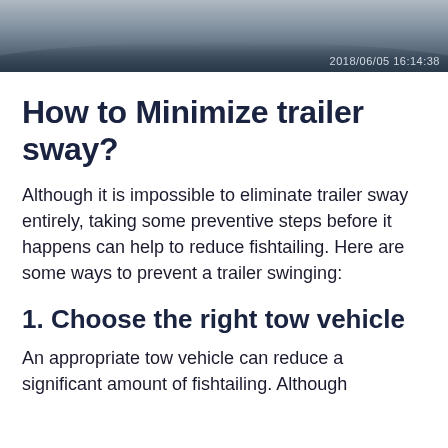[Figure (photo): A photo or screenshot showing a curved dark shape (possibly a road or vehicle) against a light sky background, with a timestamp overlay reading 2018/06/05 16:14:38 in the bottom right.]
How to Minimize trailer sway?
Although it is impossible to eliminate trailer sway entirely, taking some preventive steps before it happens can help to reduce fishtailing. Here are some ways to prevent a trailer swinging:
1. Choose the right tow vehicle
An appropriate tow vehicle can reduce a significant amount of fishtailing. Although